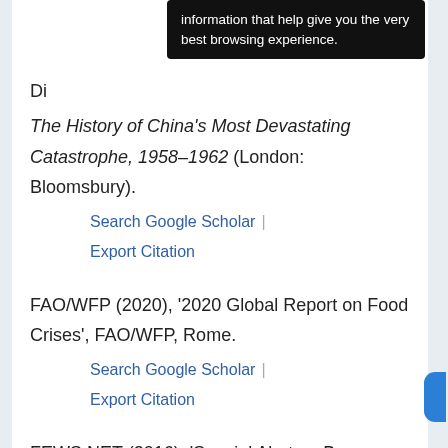[Figure (other): Black tooltip popup overlay with white text reading 'information that help give you the very best browsing experience.']
Di
The History of China's Most Devastating Catastrophe, 1958–1962 (London: Bloomsbury).
Search Google Scholar | Export Citation
FAO/WFP (2020), '2020 Global Report on Food Crises', FAO/WFP, Rome.
Search Google Scholar | Export Citation
FEWS NET (2016), 'Special Alert on Borno State, Nigeria'. Evidence and Standards for Better Food Security